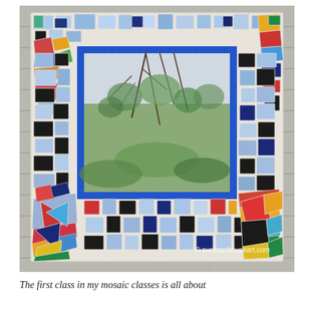[Figure (photo): A colorful mosaic-framed square mirror mounted on a weathered wooden shingle wall. The mosaic frame is made of broken ceramic and glass tiles in shades of blue (light blue, dark blue, cobalt), black, white, red, green, yellow, and orange arranged in an irregular patchwork pattern. The center mirror reflects a tree and outdoor scenery. A watermark reads '© summerhouseart.com' in the lower right of the image.]
The first class in my mosaic classes is all about